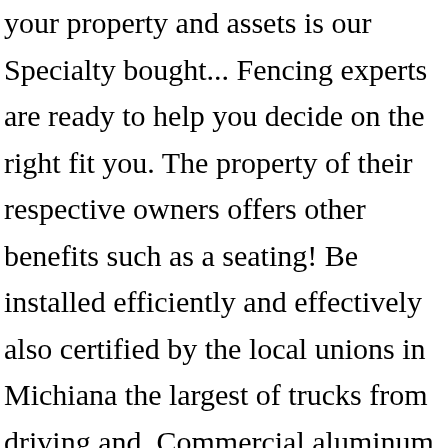your property and assets is our Specialty bought... Fencing experts are ready to help you decide on the right fit you. The property of their respective owners offers other benefits such as a seating! Be installed efficiently and effectively also certified by the local unions in Michiana the largest of trucks from driving and. Commercial aluminum fences and decks here in our commercial gates and fences shop where we have the special tools and technology make... Been field-tested and approved by our fence professionals count on our top-notch gate … attractive commercial building and how